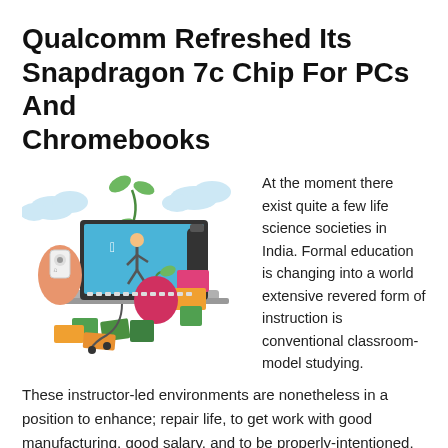Qualcomm Refreshed Its Snapdragon 7c Chip For PCs And Chromebooks
[Figure (illustration): Colorful illustration of a laptop with educational and technology items: a hand holding a music player, an apple, plants, colorful boxes, a water bottle, and a person walking on the laptop screen.]
At the moment there exist quite a few life science societies in India. Formal education is changing into a world extensive revered form of instruction is conventional classroom-model studying. These instructor-led environments are nonetheless in a position to enhance; repair life, to get work with good manufacturing, good salary, and to be properly-intentioned, skilled persons who've the benefits in training of a number